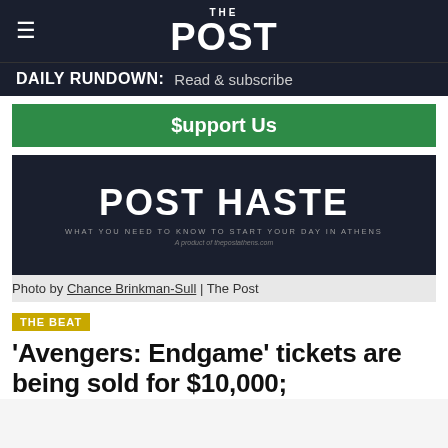THE POST
DAILY RUNDOWN: Read & subscribe
$upport Us
[Figure (logo): POST HASTE banner logo: black background with bold white text 'POST HASTE', subtitle 'WHAT YOU NEED TO KNOW TO START YOUR DAY IN ATHENS', tagline 'A product of thepostathens.com']
Photo by Chance Brinkman-Sull | The Post
THE BEAT
'Avengers: Endgame' tickets are being sold for $10,000;